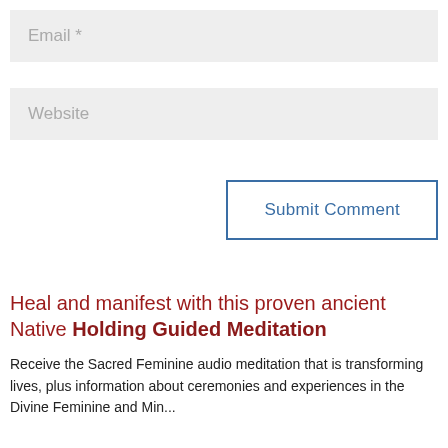Email *
Website
Submit Comment
Heal and manifest with this proven ancient Native Holding Guided Meditation
Receive the Sacred Feminine audio meditation that is transforming lives, plus information about ceremonies and experiences in the Divine Feminine and Mind...